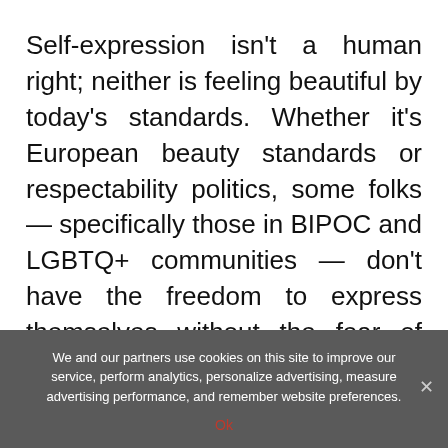Self-expression isn't a human right; neither is feeling beautiful by today's standards. Whether it's European beauty standards or respectability politics, some folks — specifically those in BIPOC and LGBTQ+ communities — don't have the freedom to express themselves without the fear of being harmed or rebuffed.
“When our ability to express ourselves is
We and our partners use cookies on this site to improve our service, perform analytics, personalize advertising, measure advertising performance, and remember website preferences.
Ok